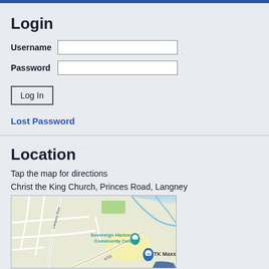Login
Username
Password
Log In
Lost Password
Location
Tap the map for directions
Christ the King Church, Princes Road, Langney
[Figure (map): Google Maps screenshot showing area around Sovereign Harbour Community Centre and TK Maxx near Langney Rise and A259 road]